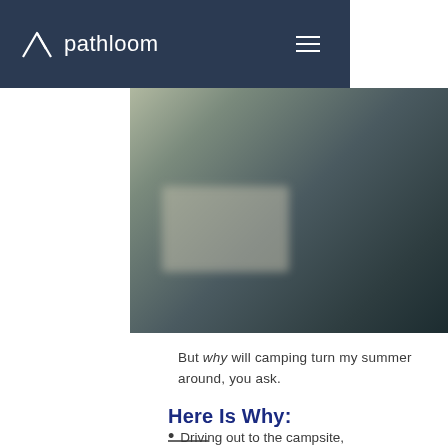pathloom
[Figure (photo): Blurred outdoor/campsite photo with muted green, grey and dark teal tones]
But why will camping turn my summer around, you ask.
Here Is Why:
Driving out to the campsite, setting everything up and then